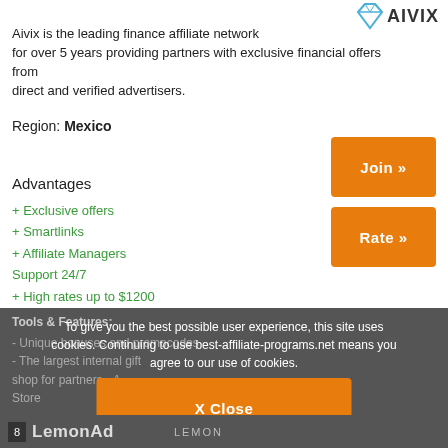[Figure (logo): Aivix diamond logo with text AIVIX in blue]
Aivix is the leading finance affiliate network for over 5 years providing partners with exclusive financial offers from direct and verified advertisers.
Region: Mexico
Advantages
+ Exclusive offers
+ Smartlinks
+ Affiliate Managers Support 24/7
+ High rates up to $1200
+ Proprietary Tracking Software
Join »
Rate »
Tools & Features:
- Unique bonuses and promocodes
- The largest internal gift shop for partners - A... Store
To give you the best possible user experience, this site uses cookies. Continuing to use best-affiliate-programs.net means you agree to our use of cookies.
X Close
8 LemonAd